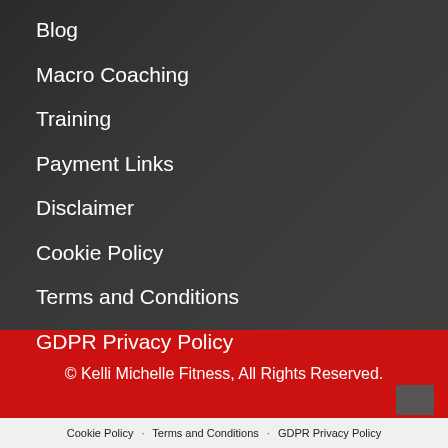Blog
Macro Coaching
Training
Payment Links
Disclaimer
Cookie Policy
Terms and Conditions
GDPR Privacy Policy
© Kelli Michelle Fitness, All Rights Reserved.
Cookie Policy · Terms and Conditions · GDPR Privacy Policy